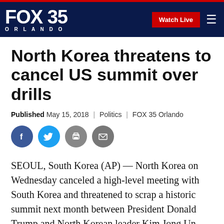FOX 35 ORLANDO | Watch Live
North Korea threatens to cancel US summit over drills
Published May 15, 2018 | Politics | FOX 35 Orlando
[Figure (other): Social sharing icons: Facebook, Twitter, Print, Email]
SEOUL, South Korea (AP) — North Korea on Wednesday canceled a high-level meeting with South Korea and threatened to scrap a historic summit next month between President Donald Trump and North Korean leader Kim Jong Un over military exercises between Seoul and Washington that Pyongyang has long objected to as provocative...